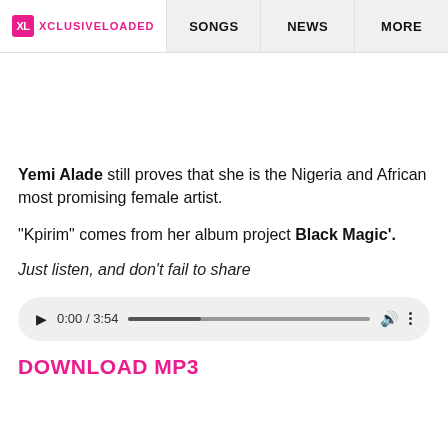XL XCLUSIVELOADED | SONGS | NEWS | MORE
Yemi Alade still proves that she is the Nigeria and African most promising female artist.
"Kpirim" comes from her album project Black Magic'.
Just listen, and don't fail to share
[Figure (other): Audio player widget showing play button, time 0:00 / 3:54, progress bar, volume icon, and more options icon]
DOWNLOAD MP3